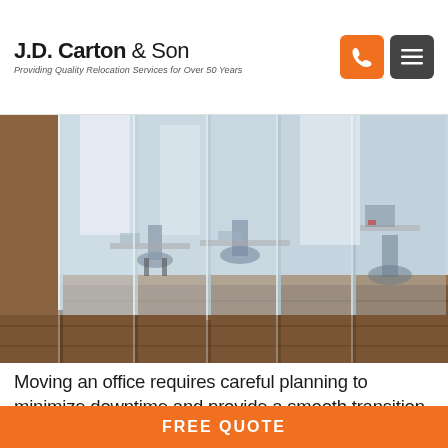J.D. Carton & Son — Providing Quality Relocation Services for Over 50 Years
[Figure (photo): Modern office interior with glass partition walls, office chairs and desks visible through transparent glass panels, hardwood floors, bright natural light]
Moving an office requires careful planning to minimize downtime and provide a smooth transition
FREE QUOTE